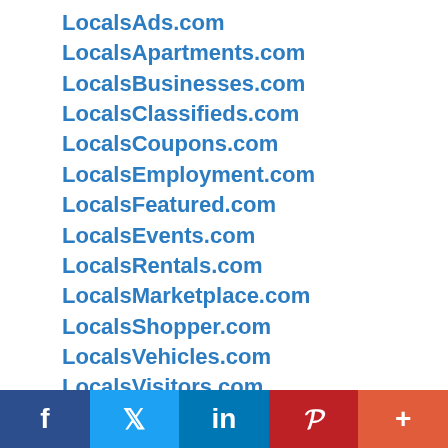LocalsAds.com
LocalsApartments.com
LocalsBusinesses.com
LocalsClassifieds.com
LocalsCoupons.com
LocalsEmployment.com
LocalsFeatured.com
LocalsEvents.com
LocalsRentals.com
LocalsMarketplace.com
LocalsShopper.com
LocalsVehicles.com
LocalsVisitors.com
NorthlandAds.com
NorthlandApartments.com
NorthlandBusinesses.com
f  Twitter  in  Pinterest  +